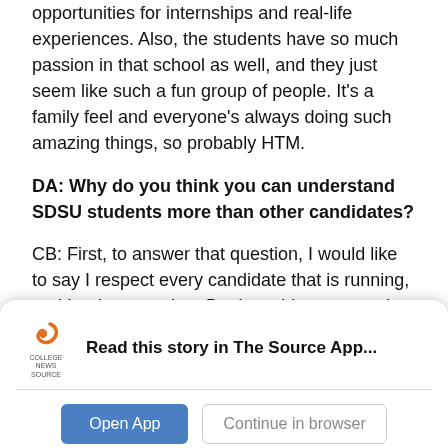opportunities for internships and real-life experiences. Also, the students have so much passion in that school as well, and they just seem like such a fun group of people. It's a family feel and everyone's always doing such amazing things, so probably HTM.
DA: Why do you think you can understand SDSU students more than other candidates?
CB: First, to answer that question, I would like to say I respect every candidate that is running, and I truly mean that. But I would represent the students in a great way because I offer the knowledge of Associated Students because of my involvement with
[Figure (logo): College News Source app logo - stylized orange S icon with text COLLEGE NEWS SOURCE below]
Read this story in The Source App...
Open App    Continue in browser